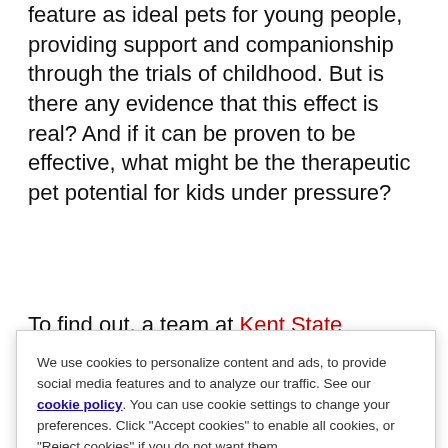feature as ideal pets for young people, providing support and companionship through the trials of childhood. But is there any evidence that this effect is real? And if it can be proven to be effective, what might be the therapeutic pet potential for kids under pressure?
To find out, a team at Kent State University, USA
We use cookies to personalize content and ads, to provide social media features and to analyze our traffic. See our cookie policy. You can use cookie settings to change your preferences. Click "Accept cookies" to enable all cookies, or "Reject cookies" if you do not want them.
Cookie Settings
Reject Cookies
Accept Cookies